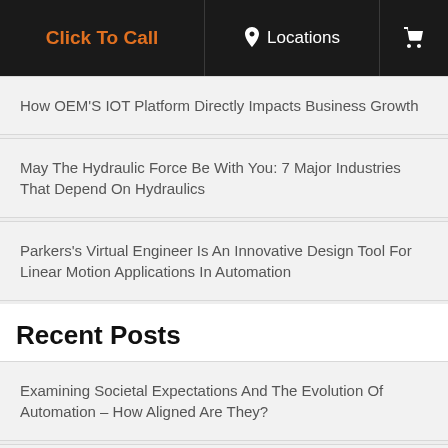Click To Call | Locations | [cart icon]
How OEM'S IOT Platform Directly Impacts Business Growth
May The Hydraulic Force Be With You: 7 Major Industries That Depend On Hydraulics
Parkers's Virtual Engineer Is An Innovative Design Tool For Linear Motion Applications In Automation
Recent Posts
Examining Societal Expectations And The Evolution Of Automation – How Aligned Are They?
3 Advantages Of Creating An Empowered Team Of Automation Experts